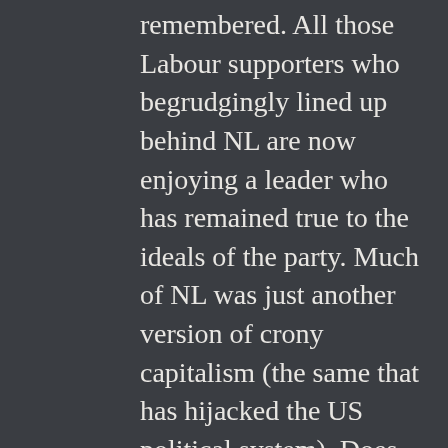remembered. All those Labour supporters who begrudgingly lined up behind NL are now enjoying a leader who has remained true to the ideals of the party. Much of NL was just another version of crony capitalism (the same that has hijacked the US political system). Does Corbyn have a chance of leading Labour into the next election? Probably not. But that doesn't mean his presence isn't imperative if Labour is to remain a party of working (and non-working – as in children and the less abled) people. Allowing a free